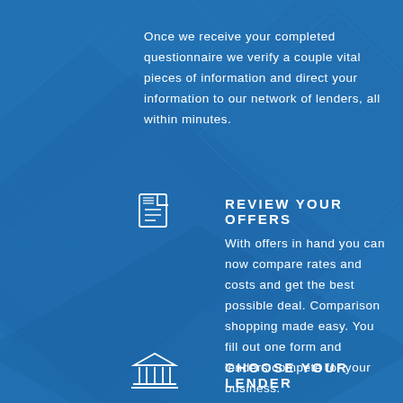Once we receive your completed questionnaire we verify a couple vital pieces of information and direct your information to our network of lenders, all within minutes.
[Figure (illustration): White icon of a document/notepad with lines, representing review of offers]
REVIEW YOUR OFFERS
With offers in hand you can now compare rates and costs and get the best possible deal. Comparison shopping made easy. You fill out one form and lenders compete for your business.
[Figure (illustration): White icon of a bank/institution building with columns, representing choosing a lender]
CHOOSE YOUR LENDER